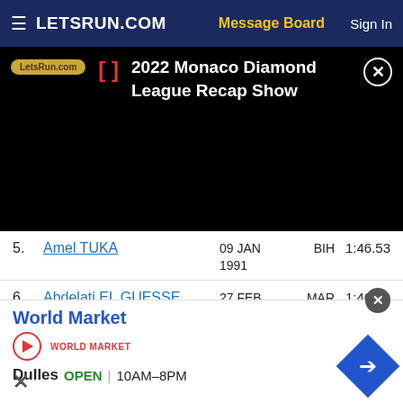LETSRUN.COM | Message Board | Sign In
[Figure (screenshot): Video player strip showing LetsRun.com logo, bracket icon, and title '2022 Monaco Diamond League Recap Show' with close button, on black background]
5. Amel TUKA   09 JAN 1991   BIH   1:46.53
6. Abdelati EL GUESSE   27 FEB 1993   MAR   1:46.79
7. Mostafa SMAILI   09 JAN 1997   MAR   1:46.86
[Figure (screenshot): Advertisement banner for World Market showing play button, World Market logo text, blue diamond arrow icon, location 'Dulles', status 'OPEN', hours '10AM-8PM']